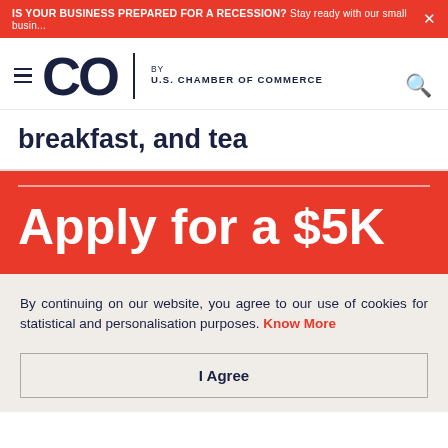IS YOUR BUSINESS PREPARED FOR A RECESSION? Stay ready with our small busin... ×
[Figure (logo): CO by U.S. Chamber of Commerce logo with hamburger menu and search icon]
breakfast, and tea
Apply for a $5K
By continuing on our website, you agree to our use of cookies for statistical and personalisation purposes. Know More
I Agree